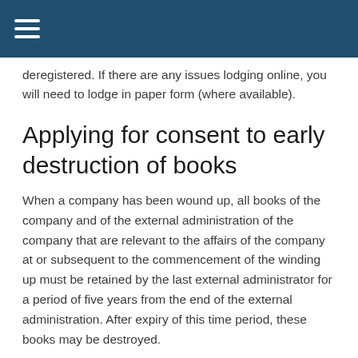[Navigation menu icon]
deregistered. If there are any issues lodging online, you will need to lodge in paper form (where available).
Applying for consent to early destruction of books
When a company has been wound up, all books of the company and of the external administration of the company that are relevant to the affairs of the company at or subsequent to the commencement of the winding up must be retained by the last external administrator for a period of five years from the end of the external administration. After expiry of this time period, these books may be destroyed.
However, in some circumstances, the books of the company and of the external administration of the company may be destroyed within the five-year period: